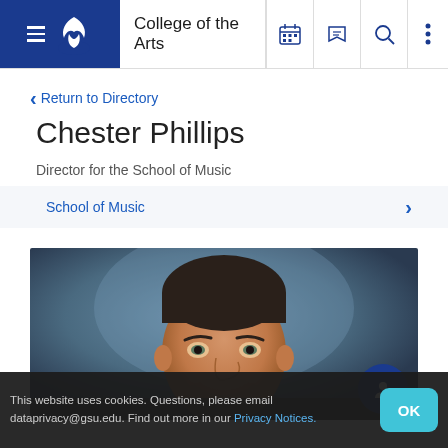College of the Arts
Return to Directory
Chester Phillips
Director for the School of Music
School of Music
[Figure (photo): Headshot photo of Chester Phillips, a middle-aged man with short brown hair, smiling slightly against a blurred blue-grey background.]
This website uses cookies. Questions, please email dataprivacy@gsu.edu. Find out more in our Privacy Notices.